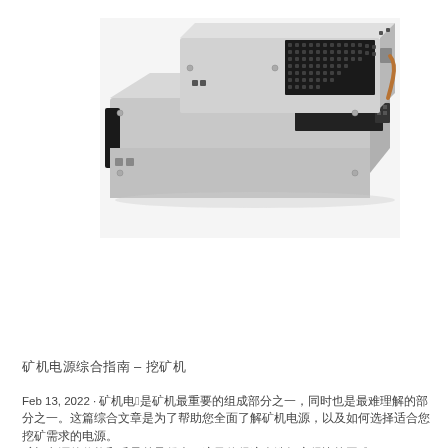[Figure (photo): Photograph of two stacked server/mining power supply units (PSUs) with metal chassis, ventilation grilles, and cooling fans visible]
矿机电源综合指南 – 挖矿机
Feb 13, 2022 · 矿机电源2是矿机最重要的组成部分之一，同时也是最难理解的部分之一。这篇综合文章是为了帮助您全面了解矿机电源，以及如何选择适合您挖矿需求的电源。